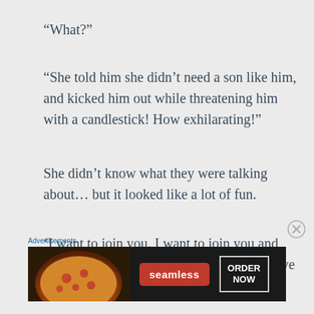“What?”
“She told him she didn’t need a son like him, and kicked him out while threatening him with a candlestick! How exhilarating!”
She didn’t know what they were talking about… but it looked like a lot of fun.
‘I want to join you. I want to join you and play… I came here because I wanted to have fun, too…’
[Figure (photo): Seamless food delivery advertisement banner with pizza image on left, Seamless logo in red, and ORDER NOW button]
Advertisements